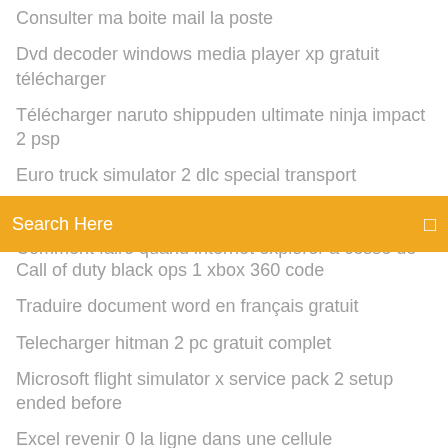Consulter ma boite mail la poste
Dvd decoder windows media player xp gratuit télécharger
Télécharger naruto shippuden ultimate ninja impact 2 psp
Euro truck simulator 2 dlc special transport
Meilleur logiciel de montage de video gratuit
Comment faire quand internet explorer a cessé de
[Figure (screenshot): Orange search bar with 'Search Here' placeholder text and a search icon on the right]
Call of duty black ops 1 xbox 360 code
Traduire document word en français gratuit
Telecharger hitman 2 pc gratuit complet
Microsoft flight simulator x service pack 2 setup ended before
Excel revenir 0 la ligne dans une cellule
Comment installer whatsapp sur android 2.2.2
Logiciel pour couper video mac gratuit
Google google play store app télécharger
Win 7 télécharger tool usb
Logiciel de percussion batterie gratuit